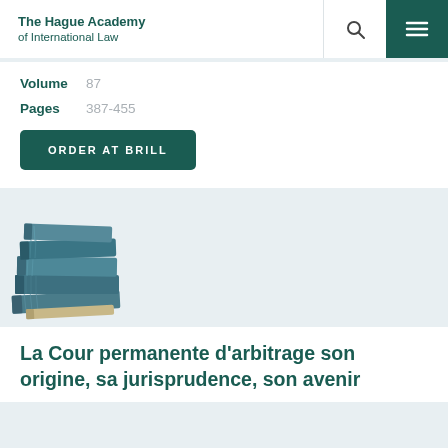The Hague Academy of International Law
Volume 87
Pages 387-455
ORDER AT BRILL
[Figure (photo): Stack of blue hardcover books representing Hague Academy of International Law volumes]
La Cour permanente d'arbitrage son origine, sa jurisprudence, son avenir